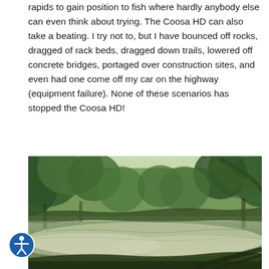rapids to gain position to fish where hardly anybody else can even think about trying. The Coosa HD can also take a beating. I try not to, but I have bounced off rocks, dragged of rack beds, dragged down trails, lowered off concrete bridges, portaged over construction sites, and even had one come off my car on the highway (equipment failure). None of these scenarios has stopped the Coosa HD!
[Figure (photo): A serene river or creek scene with lush green trees on both sides, morning mist rising off the water, sunlight filtering through the canopy on the right side, and a calm reflective water surface.]